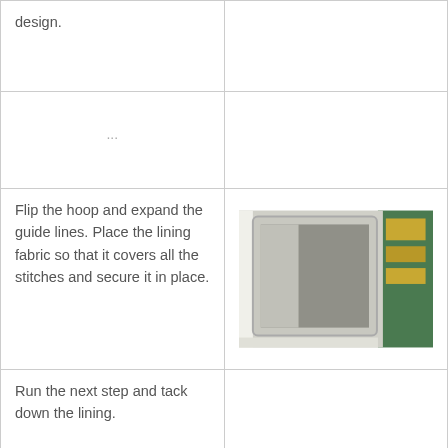design.
...
Flip the hoop and expand the guide lines. Place the lining fabric so that it covers all the stitches and secure it in place.
[Figure (photo): Photo of an embroidery hoop flipped over showing lining fabric being placed, on a green cutting mat]
Run the next step and tack down the lining.
I didn't have clear vinyl